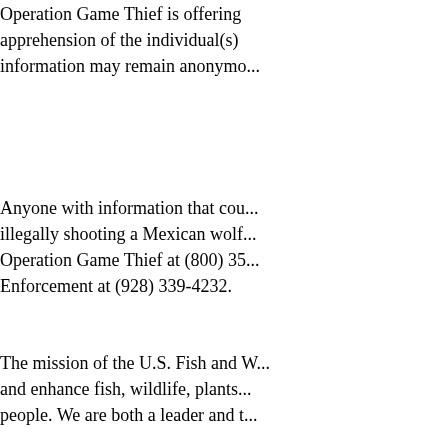Operation Game Thief is offering a reward for information leading to the apprehension of the individual(s) responsible. Those providing information may remain anonymous.
Anyone with information that could lead to the arrest of those illegally shooting a Mexican wolf should immediately contact Operation Game Thief at (800) 35... or USFWS Law Enforcement at (928) 339-4232.
The mission of the U.S. Fish and Wildlife Service is working with others to conserve, protect, and enhance fish, wildlife, plants and their habitats for the continuing benefit of the American people. We are both a leader and trusted partner in fish and wildlife conservation, known for our scientific excellence, stewardship of lands and natural resources, dedicated work force, and commitment to public service. For more information on our work and the people who make it happen, visit www.fws.gov.
-FWS-
For more information about fish and wildlife in the Southwest, visit http://www.fws.gov/southwest/